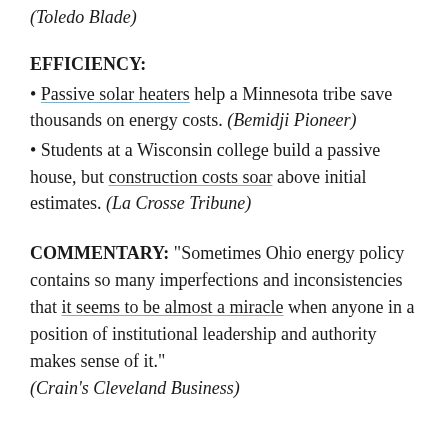(Toledo Blade)
EFFICIENCY:
Passive solar heaters help a Minnesota tribe save thousands on energy costs. (Bemidji Pioneer)
Students at a Wisconsin college build a passive house, but construction costs soar above initial estimates. (La Crosse Tribune)
COMMENTARY: “Sometimes Ohio energy policy contains so many imperfections and inconsistencies that it seems to be almost a miracle when anyone in a position of institutional leadership and authority makes sense of it.” (Crain’s Cleveland Business)